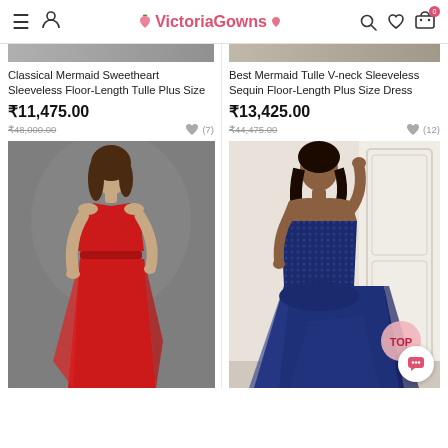VictoriaGowns
[Figure (screenshot): Partial top of a red dress product image from previous scroll]
Classical Mermaid Sweetheart Sleeveless Floor-Length Tulle Plus Size
₹11,475.00
₹48,000.00 (strikethrough)
(7) wishlist count
[Figure (photo): Woman wearing a red sleeveless floor-length gown, standing on a grey background]
[Figure (screenshot): Partial top of a navy dress product image from previous scroll]
Best Mermaid Tulle V-neck Sleeveless Sequin Floor-Length Plus Size Dress
₹13,425.00
₹44,475.00 (strikethrough)
(12) wishlist count
[Figure (photo): Woman wearing a navy blue mermaid strapless floor-length gown, standing next to a white decorative wall panel. 'TOP' badge visible in bottom right.]